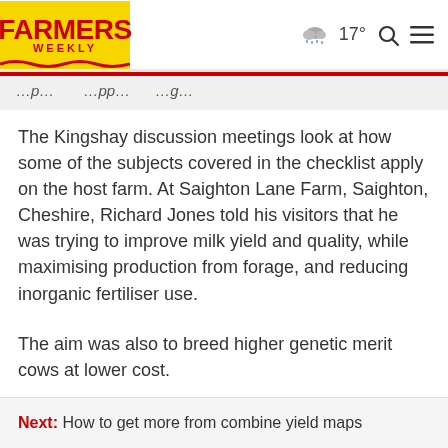Farmers Weekly
The Kingshay discussion meetings look at how some of the subjects covered in the checklist apply on the host farm. At Saighton Lane Farm, Saighton, Cheshire, Richard Jones told his visitors that he was trying to improve milk yield and quality, while maximising production from forage, and reducing inorganic fertiliser use.
The aim was also to breed higher genetic merit cows at lower cost.
To this end young bull semen from Cogent was used across
Next: How to get more from combine yield maps